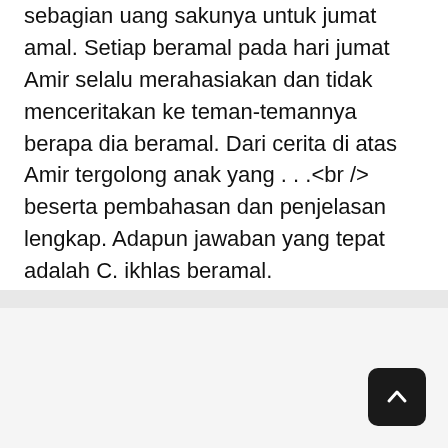sebagian uang sakunya untuk jumat amal. Setiap beramal pada hari jumat Amir selalu merahasiakan dan tidak menceritakan ke teman-temannya berapa dia beramal. Dari cerita di atas Amir tergolong anak yang . . .&lt;br /&gt; beserta pembahasan dan penjelasan lengkap. Adapun jawaban yang tepat adalah C. ikhlas beramal.
1  2  ...  167  Selanjutnya →